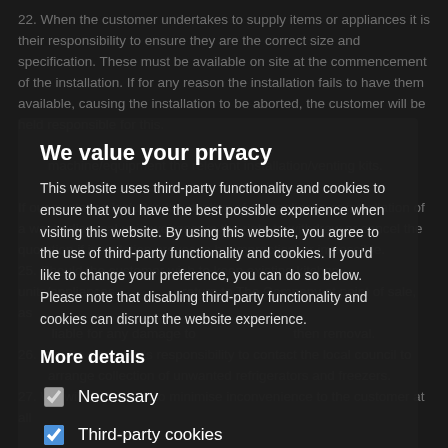22. When the customer undertakes to supply items or appliances it is their responsibility to ensure they are the correct size and specification. These must be available on site at the commencement of the installation. If for any reason the installation fails to have them available, causing the installation to be aborted, the customer will be held responsible for this. machine/equipment the relevant installation/venting kits. If our quotation includes the ducting of an appliance or installation of a waste disposal unit, we reserve the right to withdraw or cancel the quotation if installation proves to be impractical or impossible. 25. Should the customer wish to keep existing kitchen units/appliances return to The Company at point of sale, as liable for any damage to then removal. 26. It is the customer's responsibility to contact the local council to arrange collection of unwanted refrigerators and freezers. 27. We will endeavour to minimise inconvenience to the customer at all
We value your privacy
This website uses third-party functionality and cookies to ensure that you have the best possible experience when visiting this website. By using this website, you agree to the use of third-party functionality and cookies. If you'd like to change your preference, you can do so below. Please note that disabling third-party functionality and cookies can disrupt the website experience.
More details
Necessary
Third-party cookies
Accept selected
Accept all